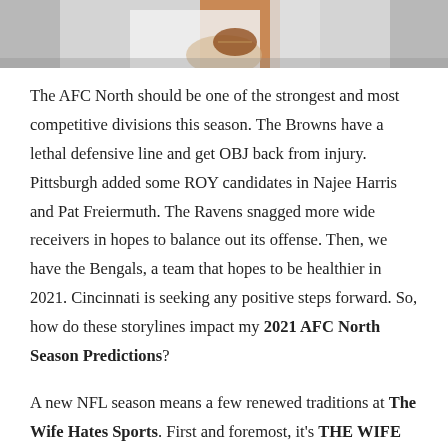[Figure (photo): Cropped photo of football player(s) in orange and white jersey, top portion of image showing players holding a football]
The AFC North should be one of the strongest and most competitive divisions this season. The Browns have a lethal defensive line and get OBJ back from injury. Pittsburgh added some ROY candidates in Najee Harris and Pat Freiermuth. The Ravens snagged more wide receivers in hopes to balance out its offense. Then, we have the Bengals, a team that hopes to be healthier in 2021. Cincinnati is seeking any positive steps forward. So, how do these storylines impact my 2021 AFC North Season Predictions?
A new NFL season means a few renewed traditions at The Wife Hates Sports. First and foremost, it's THE WIFE releasing an ultra-heavy dose of eye rolls, as she